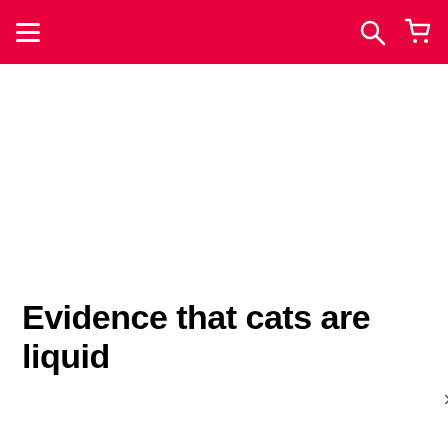Navigation bar with hamburger menu, search icon, and cart icon
https://pikabu.ru
Evidence that cats are liquid
[Figure (screenshot): A partially visible image loading widget/dialog with a file icon on the left and a close (×) button on the right, set against a light gray bar]